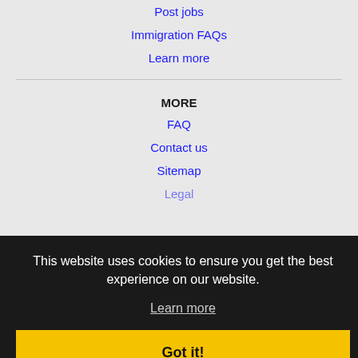Post jobs
Immigration FAQs
Learn more
MORE
FAQ
Contact us
Sitemap
Legal
NEARBY CITIES
Akron, OH Jobs
Fairlawn, OH Jobs
Cleveland, OH Jobs
Cleveland Heights, OH Jobs
This website uses cookies to ensure you get the best experience on our website.
Learn more
Got it!